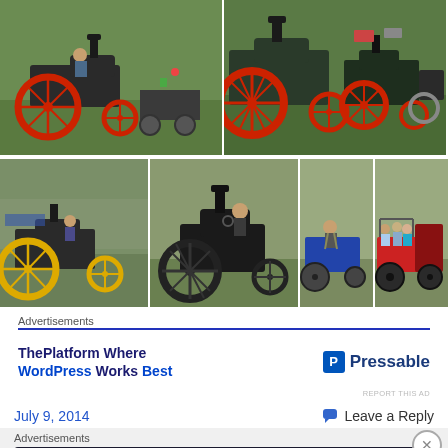[Figure (photo): Grid of photos showing vintage/miniature steam traction engines at an outdoor show. Top row: two wide photos of steam traction engines with red wheels on green grass. Bottom row: four photos of various steam traction engines and people riding them.]
Advertisements
[Figure (screenshot): Advertisement for Pressable WordPress hosting. Text reads: ThePlatform Where WordPress Works Best. Pressable logo on the right.]
REPORT THIS AD
July 9, 2014
Leave a Reply
Advertisements
[Figure (screenshot): Advertisement banner: Launch your online course with WordPress. Learn More button. Dark background with teal text and WordPress logo icon.]
REPORT THIS AD